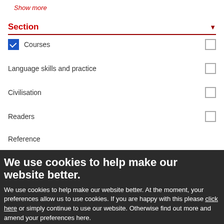Show more
Section
Courses
Language skills and practice
Civilisation
Readers
Reference
Show more
We use cookies to help make our website better.
We use cookies to help make our website better. At the moment, your preferences allow us to use cookies. If you are happy with this please click here or simply continue to use our website. Otherwise find out more and amend your preferences here.